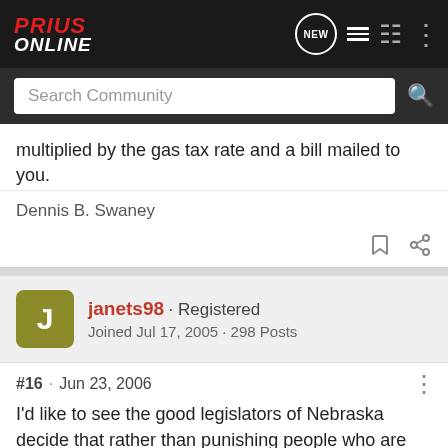PriusOnline — Search Community navigation bar
multiplied by the gas tax rate and a bill mailed to you.
Dennis B. Swaney
janets98 · Registered
Joined Jul 17, 2005 · 298 Posts
#16 · Jun 23, 2006
I'd like to see the good legislators of Nebraska decide that rather than punishing people who are saving gas, eliminating pollution and taking a step to wean us off foreign oil, they will